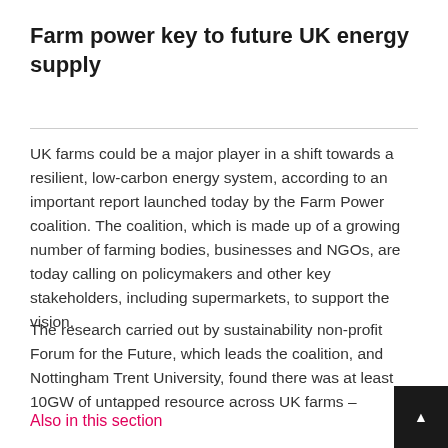Farm power key to future UK energy supply
UK farms could be a major player in a shift towards a resilient, low-carbon energy system, according to an important report launched today by the Farm Power coalition. The coalition, which is made up of a growing number of farming bodies, businesses and NGOs, are today calling on policymakers and other key stakeholders, including supermarkets, to support the vision.
The research carried out by sustainability non-profit Forum for the Future, which leads the coalition, and Nottingham Trent University, found there was at least 10GW of untapped resource across UK farms –
Also in this section